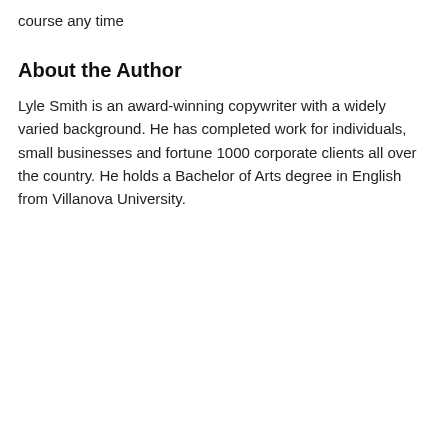course any time
About the Author
Lyle Smith is an award-winning copywriter with a widely varied background. He has completed work for individuals, small businesses and fortune 1000 corporate clients all over the country. He holds a Bachelor of Arts degree in English from Villanova University.